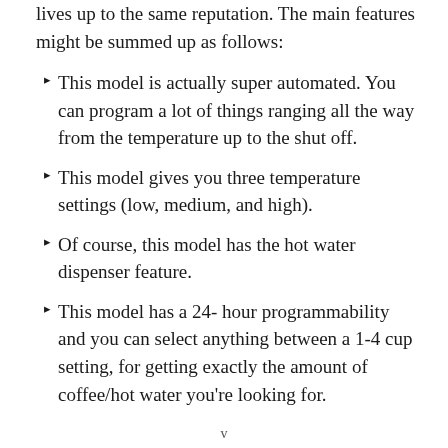lives up to the same reputation. The main features might be summed up as follows:
This model is actually super automated. You can program a lot of things ranging all the way from the temperature up to the shut off.
This model gives you three temperature settings (low, medium, and high).
Of course, this model has the hot water dispenser feature.
This model has a 24- hour programmability and you can select anything between a 1-4 cup setting, for getting exactly the amount of coffee/hot water you're looking for.
v